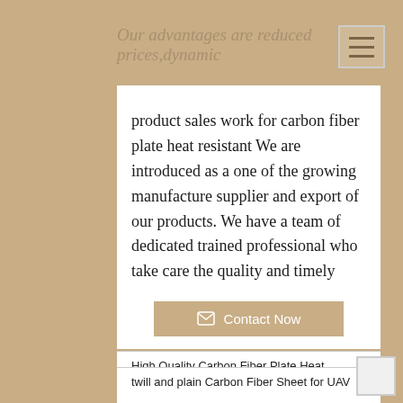Our advantages are reduced prices,dynamic
product sales work for carbon fiber plate heat resistant We are introduced as a one of the growing manufacture supplier and export of our products. We have a team of dedicated trained professional who take care the quality and timely supply. If you are looking for Good Quality at a good price and timely delivery. Do contact us.
High Quality Carbon Fiber Plate Heat Resistant
Contact Now
twill and plain Carbon Fiber Sheet for UAV